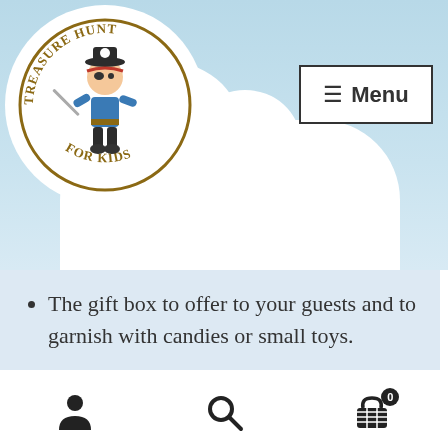[Figure (logo): Treasure Hunt For Kids circular logo with pirate character]
[Figure (screenshot): Menu button with hamburger icon and 'Menu' text]
The gift box to offer to your guests and to garnish with candies or small toys.
Get 30% OFF on the 2nd game purchased (direct shopping cart discount).
Dismiss
[Figure (infographic): Bottom navigation bar with person, search, and cart icons]